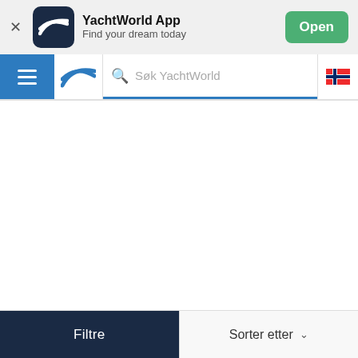[Figure (screenshot): YachtWorld App banner with app icon (dark navy background with white wave logo), app name 'YachtWorld App', subtitle 'Find your dream today', and green 'Open' button]
[Figure (screenshot): Navigation bar with blue hamburger menu, YachtWorld logo, search box with placeholder 'Søk YachtWorld', and Norwegian flag icon]
Filtre
Sorter etter